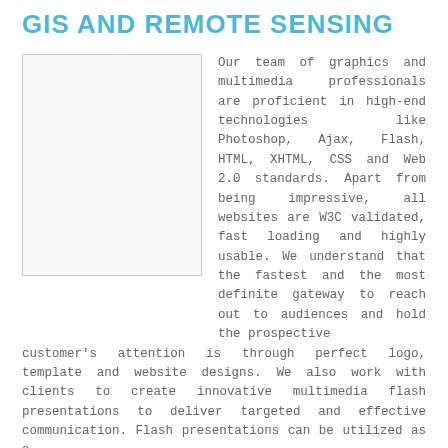GIS AND REMOTE SENSING
[Figure (photo): Blank placeholder image box]
Our team of graphics and multimedia professionals are proficient in high-end technologies like Photoshop, Ajax, Flash, HTML, XHTML, CSS and Web 2.0 standards. Apart from being impressive, all websites are W3C validated, fast loading and highly usable. We understand that the fastest and the most definite gateway to reach out to audiences and hold the prospective customer's attention is through perfect logo, template and website designs. We also work with clients to create innovative multimedia flash presentations to deliver targeted and effective communication. Flash presentations can be utilized as a
Read More ...
D5 Creation   July 14, 2014   d5 creation, selfie, WordPress   broder, Cat A, Cat B, Cat C   No Comments »